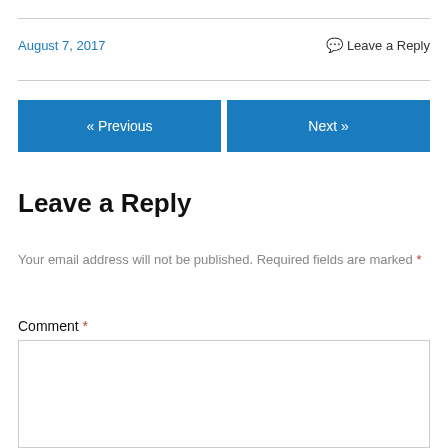August 7, 2017
Leave a Reply
« Previous
Next »
Leave a Reply
Your email address will not be published. Required fields are marked *
Comment *